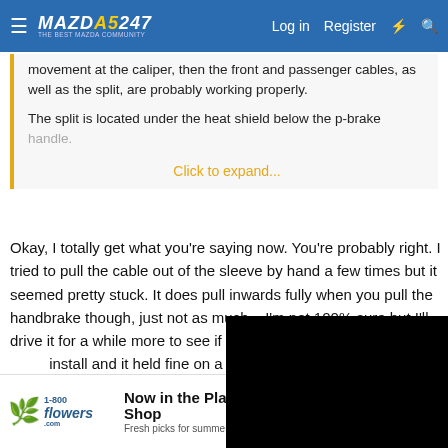MAZDA5247 — The Best Mazda Community | Log in | Register
movement at the caliper, then the front and passenger cables, as well as the split, are probably working properly.

The split is located under the heat shield below the p-brake handle.
Click to expand...
Okay, I totally get what you're saying now. You're probably right. I tried to pull the cable out of the sleeve by hand a few times but it seemed pretty stuck. It does pull inwards fully when you pull the handbrake though, just not as much... I'm not 100% sure but I'll drive it for a while more to see if it's still happening. I went for a quick install and it held fine on a steep hill, so at least for now along with keeping the... better than nothing.
[Figure (screenshot): Black video player overlay in the bottom-right of the post area with a close (X) button]
Now in the Plant Shop
Fresh picks for summer
SEE WHAT'S NEW